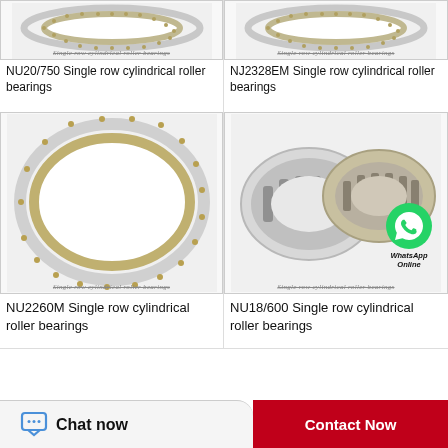[Figure (photo): NU20/750 single row cylindrical roller bearing product image with watermark]
NU20/750 Single row cylindrical roller bearings
[Figure (photo): NJ2328EM single row cylindrical roller bearing product image with watermark]
NJ2328EM Single row cylindrical roller bearings
[Figure (photo): NU2260M single row cylindrical roller bearing product image with watermark]
NU2260M Single row cylindrical roller bearings
[Figure (photo): NU18/600 single row cylindrical roller bearing product image with WhatsApp Online overlay and watermark]
NU18/600 Single row cylindrical roller bearings
Chat now
Contact Now